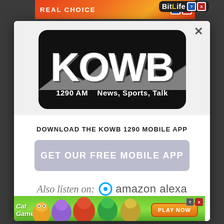[Figure (screenshot): Website background with dark overlay, showing a partially visible web page underneath a modal dialog popup for KOWB 1290 radio station]
[Figure (logo): KOWB radio station logo: black rounded rectangle with large white bold KOWB letters, mountain silhouette graphic, and tagline '1290 AM  News, Sports, Talk']
DOWNLOAD THE KOWB 1290 MOBILE APP
GET OUR FREE MOBILE APP
Also listen on:  amazon alexa